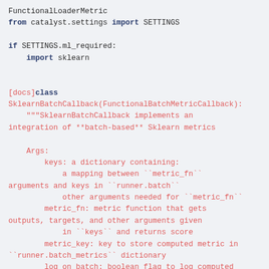FunctionalLoaderMetric
from catalyst.settings import SETTINGS

if SETTINGS.ml_required:
    import sklearn


[docs]class
SklearnBatchCallback(FunctionalBatchMetricCallback):
    """SklearnBatchCallback implements an
integration of **batch-based** Sklearn metrics

    Args:
        keys: a dictionary containing:
            a mapping between ``metric_fn``
arguments and keys in ``runner.batch``
            other arguments needed for ``metric_fn``
        metric_fn: metric function that gets
outputs, targets, and other arguments given
            in ``keys`` and returns score
        metric_key: key to store computed metric in
``runner.batch_metrics`` dictionary
        log_on_batch: boolean flag to log computed
metrics every batch
        metric_kwargs: additional parameters for
``metric_fn``

    .. note::